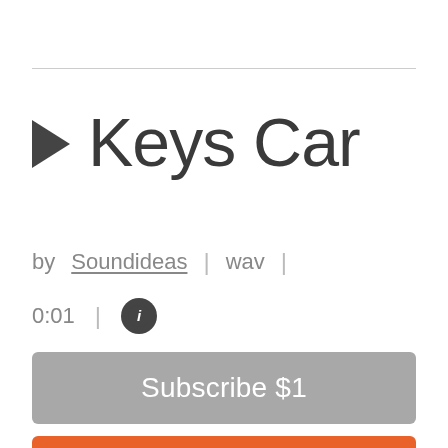Keys Car
by Soundideas  |  wav  |
0:01  |  ℹ
Subscribe $1
Add to Cart